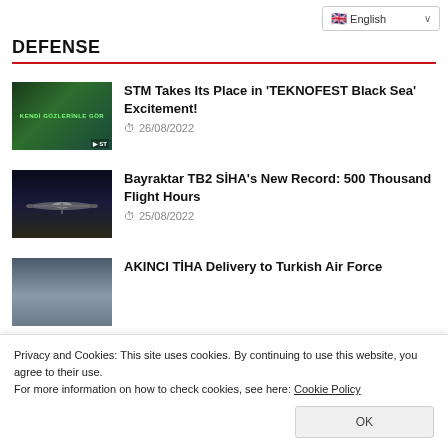English
DEFENSE
STM Takes Its Place in 'TEKNOFEST Black Sea' Excitement! | 26/08/2022
Bayraktar TB2 SİHA's New Record: 500 Thousand Flight Hours | 25/08/2022
AKINCI TİHA Delivery to Turkish Air Force
Privacy and Cookies: This site uses cookies. By continuing to use this website, you agree to their use.
For more information on how to check cookies, see here: Cookie Policy